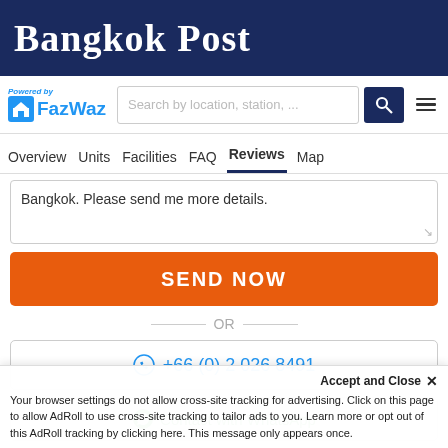Bangkok Post
[Figure (logo): FazWaz logo with 'Powered by' text and house icon]
Search by location, station, ...
Overview  Units  Facilities  FAQ  Reviews  Map
Bangkok. Please send me more details.
SEND NOW
OR
+66 (0) 2 026 8491
Contact with WhatsApp
Accept and Close ✕
Your browser settings do not allow cross-site tracking for advertising. Click on this page to allow AdRoll to use cross-site tracking to tailor ads to you. Learn more or opt out of this AdRoll tracking by clicking here. This message only appears once.